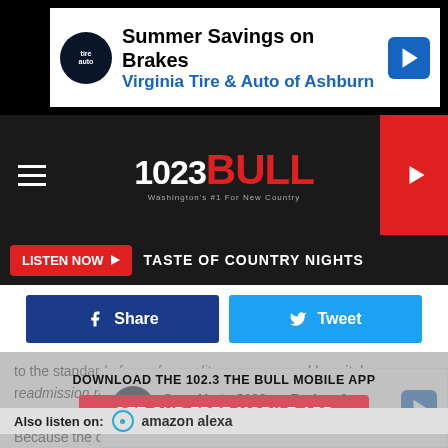[Figure (screenshot): Advertisement banner: Summer Savings on Brakes - Virginia Tire & Auto of Ashburn with logo and blue arrow icon]
[Figure (logo): 102.3 The Bull radio station navigation bar with hamburger menu, logo, and red play button]
LISTEN NOW ▶  TASTE OF COUNTRY NIGHTS
[Figure (infographic): Facebook Share button (dark blue) and Tweet button (light blue) side by side]
to the standard of care for quality measures and hospital readmission rates.
[Figure (infographic): Overlay popup: DOWNLOAD THE 102.3 THE BULL MOBILE APP with GET OUR FREE MOBILE APP red button]
Because the data used in this study is from CMSâ€™s most recent reports for 2018, the numbers in the results do not reflect the current state of health care. Rather, by examining the preceding trends in Medicare costs before the onset of
Also listen on:  amazon alexa
[Figure (screenshot): Advertisement banner: Save Up to $100 on Brakes & Rotors at Virginia Tire & Auto with logo and blue arrow icon]